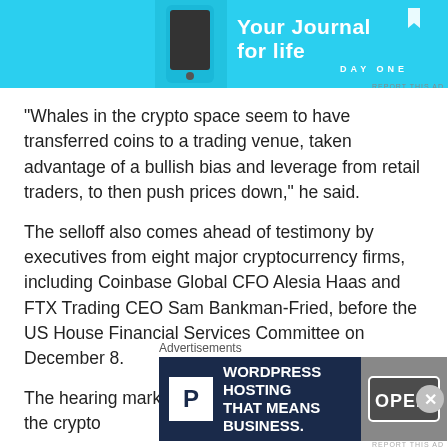[Figure (screenshot): Top advertisement banner: DayOne 'Your Journal for life' app promotion with light blue background, phone image, and bookmark icon.]
"Whales in the crypto space seem to have transferred coins to a trading venue, taken advantage of a bullish bias and leverage from retail traders, to then push prices down," he said.
The selloff also comes ahead of testimony by executives from eight major cryptocurrency firms, including Coinbase Global CFO Alesia Haas and FTX Trading CEO Sam Bankman-Fried, before the US House Financial Services Committee on December 8.
The hearing marks the first time major players in the crypto
[Figure (screenshot): Bottom advertisement: WordPress Hosting 'That Means Business.' ad with dark navy background, P icon, and open sign photo on right.]